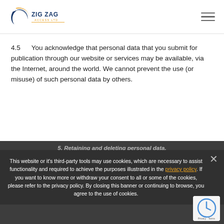[Figure (logo): Zig Zag Access Ltd logo — crescent/arc shape in blue and orange with company name]
4.5  You acknowledge that personal data that you submit for publication through our website or services may be available, via the Internet, around the world. We cannot prevent the use (or misuse) of such personal data by others.
5. Retaining and deleting personal data.
5.1  This Section 5 sets out our data retention policies and procedure, which are designed to help ensure that we comply with our legal obligations in relation to the retention and deletion of personal data.
This website or it's third-party tools may use cookies, which are necessary to assist functionality and required to achieve the purposes illustrated in the privacy policy. If you want to know more or withdraw your consent to all or some of the cookies, please refer to the privacy policy. By closing this banner or continuing to browse, you agree to the use of cookies.